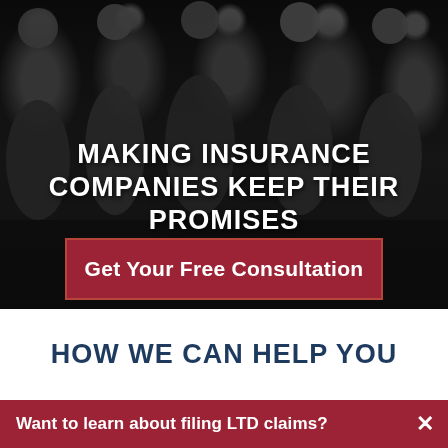[Figure (photo): Black and white photo of a group of lawyers/professionals posed in an office setting, multiple people seated and standing]
MAKING INSURANCE COMPANIES KEEP THEIR PROMISES
Get Your Free Consultation
HOW WE CAN HELP YOU
Want to learn about filing LTD claims?